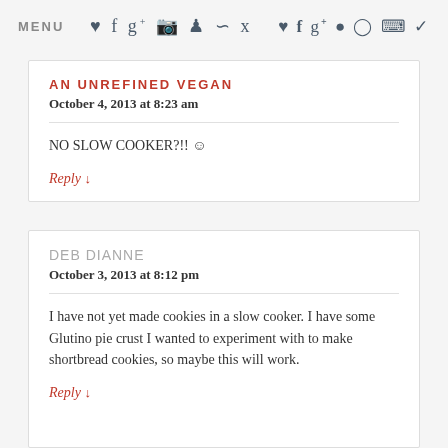MENU ♥ f g+ camera pinterest rss twitter
AN UNREFINED VEGAN
October 4, 2013 at 8:23 am
NO SLOW COOKER?!! ☺
Reply ↓
DEB DIANNE
October 3, 2013 at 8:12 pm
I have not yet made cookies in a slow cooker. I have some Glutino pie crust I wanted to experiment with to make shortbread cookies, so maybe this will work.
Reply ↓